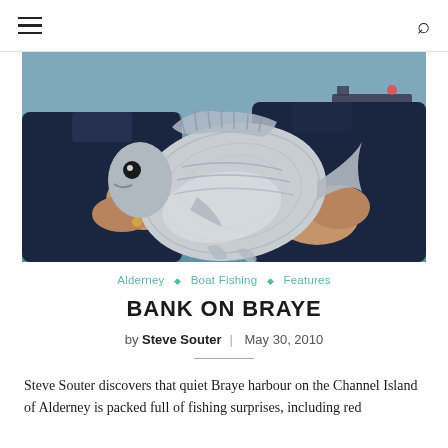≡  🔍
[Figure (photo): A person holding up a large silver sea bream fish toward the camera, with grey-green water and a distant boat visible in the background. The person is wearing a dark navy jacket.]
Alderney ◇ Boat Fishing ◇ Features
BANK ON BRAYE
by Steve Souter | May 30, 2010
Steve Souter discovers that quiet Braye harbour on the Channel Island of Alderney is packed full of fishing surprises, including red